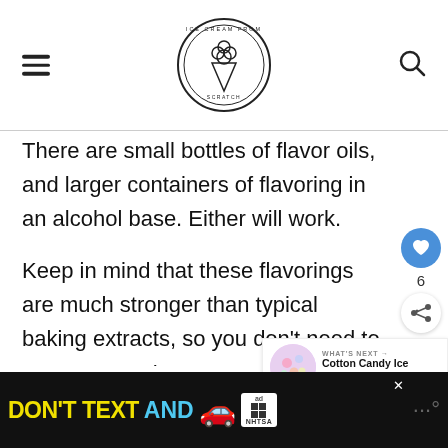Ice Cream From Scratch logo
There are small bottles of flavor oils, and larger containers of flavoring in an alcohol base. Either will work.
Keep in mind that these flavorings are much stronger than typical baking extracts, so you don't need to use very much.
Start with 1 teaspoon or less of the extract,
[Figure (infographic): Advertisement banner: DON'T TEXT AND [car emoji] with NHTSA branding]